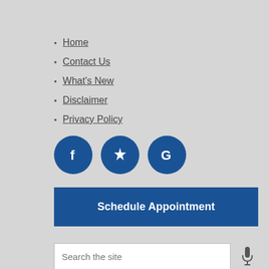Home
Contact Us
What's New
Disclaimer
Privacy Policy
[Figure (logo): Three social media icons: Facebook (f), Yelp (star/burst), and Google (G), each in a dark blue circle]
Schedule Appointment
Search the site